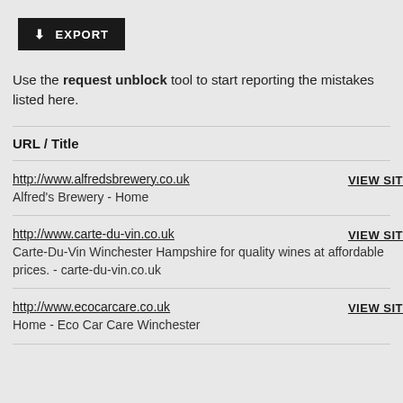[Figure (screenshot): Export button with download arrow icon, black background, white text]
Use the request unblock tool to start reporting the mistakes listed here.
| URL / Title |  |
| --- | --- |
| http://www.alfredsbrewery.co.uk
Alfred's Brewery - Home | VIEW SIT |
| http://www.carte-du-vin.co.uk
Carte-Du-Vin Winchester Hampshire for quality wines at affordable prices. - carte-du-vin.co.uk | VIEW SIT |
| http://www.ecocarcare.co.uk
Home - Eco Car Care Winchester | VIEW SIT |